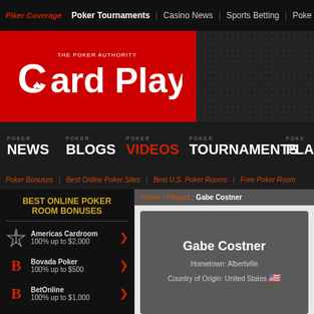Poker Coverage | Poker Tournaments | Casino News | Sports Betting | Poker
[Figure (logo): Card Player - The Poker Authority logo on red background]
POKER NEWS | POKER BLOGS | POKER VIDEOS | POKER TOURNAMENTS | POKER PLA
Poker Bonuses | Best Online Poker Sites | Best U.S. Poker Rooms | Free Poker Room
BEST ONLINE POKER ROOM BONUSES
Americas Cardroom 100% up to $2,000
Bovada Poker 100% up to $500
BetOnline 100% up to $1,000
Home : Players : Gabe Costner
Gabe Costner
Hometown: Albertville
Country of Origin: United States